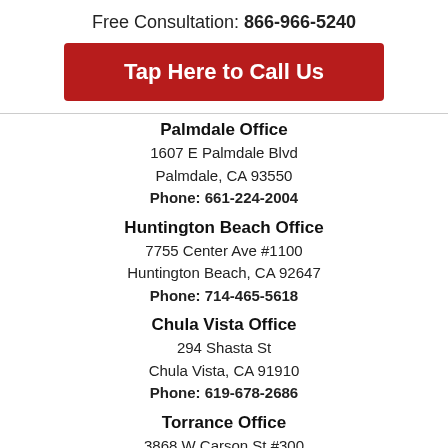Free Consultation: 866-966-5240
Tap Here to Call Us
Palmdale Office
1607 E Palmdale Blvd
Palmdale, CA 93550
Phone: 661-224-2004
Huntington Beach Office
7755 Center Ave #1100
Huntington Beach, CA 92647
Phone: 714-465-5618
Chula Vista Office
294 Shasta St
Chula Vista, CA 91910
Phone: 619-678-2686
Torrance Office
3868 W Carson St #300
Torrance, CA 90503